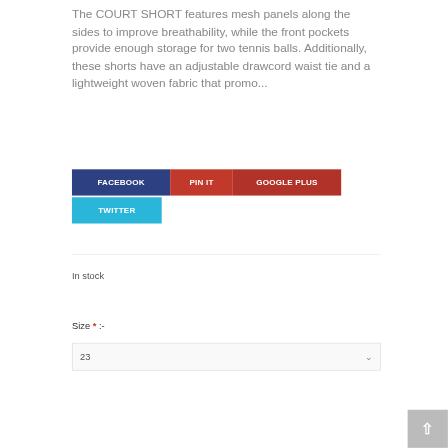The COURT SHORT features mesh panels along the sides to improve breathability, while the front pockets provide enough storage for two tennis balls. Additionally, these shorts have an adjustable drawcord waist tie and a lightweight woven fabric that promo...
FACEBOOK  PIN IT  GOOGLE PLUS  TWITTER
In stock
Size * :-
23